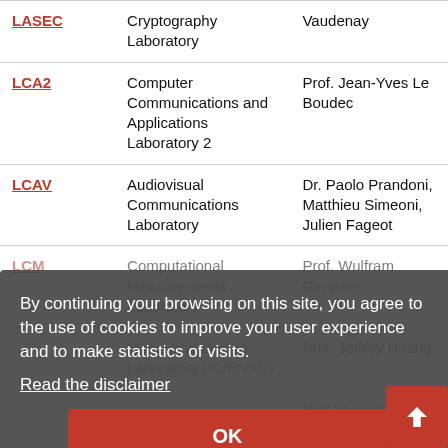| Lab | Full Name | Head(s) |
| --- | --- | --- |
| LASEC | Cryptography Laboratory | Vaudenay |
| LCA2 | Computer Communications and Applications Laboratory 2 | Prof. Jean-Yves Le Boudec |
| LCAV | Audiovisual Communications Laboratory | Dr. Paolo Prandoni, Matthieu Simeoni, Julien Fageot |
| LCM (partial) | Computational Measurements ... | Prof. Wulfram Gerstner |
| ... | Media and Design Laboratory (IC/ENAC) | Prof. Jeffrey Huang |
| ... | ... | Prof. Boi Faltings, Dr. Jean-Cedric ... |
| ... | Artificial Intelligence ... | ... |
By continuing your browsing on this site, you agree to the use of cookies to improve your user experience and to make statistics of visits. Read the disclaimer